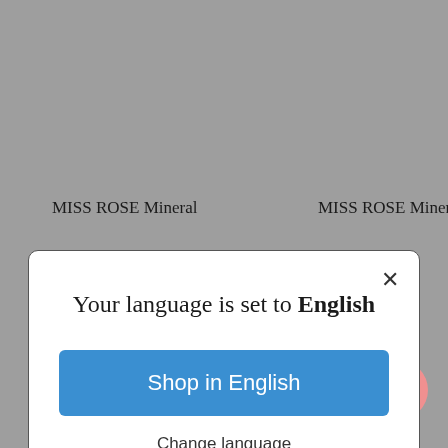MISS ROSE Mineral
MISS ROSE Mineral
[Figure (screenshot): Language selection modal dialog on a shopping website. The modal has a white background with rounded corners, showing 'Your language is set to English' as heading, a blue 'Shop in English' button, and an underlined 'Change language' link. A close (X) button is in the top right corner.]
MISS ROSE Highlighter Blusher Eyeshadow Set
UCANBE 8 Colors Matte Blusher Contour Palette